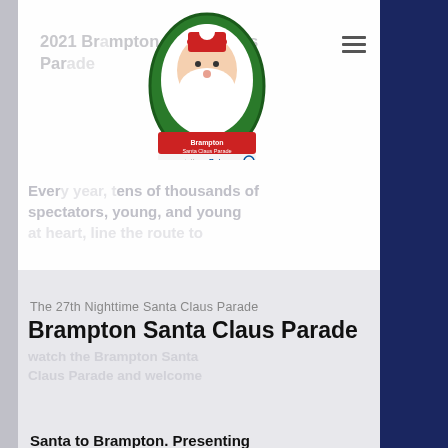2021 Brampton Santa Claus Parade
[Figure (logo): Brampton Santa Claus Parade circular logo with Santa image, presented by Rotary]
Every year, tens of thousands of spectators, young, and young at heart, line the route to watch the Brampton Santa Claus Parade and welcome Santa to Brampton. Presenting a first-class Parade is what we do best. As the City, Province and Country move out of pandemic measures, we hope to return to a live parade for next year. In the meantime, it is our priority to keep everyone safe and healthy.
The 27th Nighttime Santa Claus Parade
Brampton Santa Claus Parade
Since 1994 the Brampton Santa